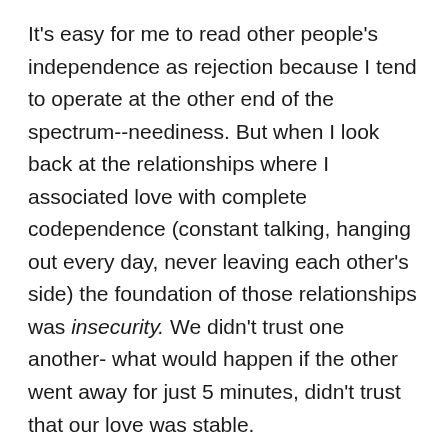It's easy for me to read other people's independence as rejection because I tend to operate at the other end of the spectrum--neediness. But when I look back at the relationships where I associated love with complete codependence (constant talking, hanging out every day, never leaving each other's side) the foundation of those relationships was insecurity. We didn't trust one another- what would happen if the other went away for just 5 minutes, didn't trust that our love was stable.
My boyfriend now had faith that our relationship could stand a week apart. He could go a few hours without talking to me and things would be just fine. And instead of feeling reassured by that... it scared me.